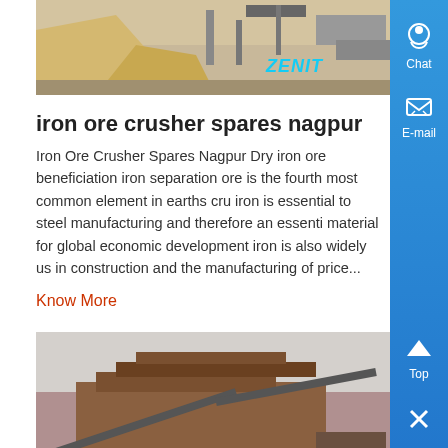[Figure (photo): Industrial mining/crushing site with sand piles and equipment, ZENIT watermark]
iron ore crusher spares nagpur
Iron Ore Crusher Spares Nagpur Dry iron ore beneficiation iron separation ore is the fourth most common element in earths cru iron is essential to steel manufacturing and therefore an essenti material for global economic development iron is also widely us in construction and the manufacturing of price...
Know More
[Figure (photo): Industrial crusher/processing plant facility, ZENIT watermark]
Iron Ore Crusher Spares Nagpur